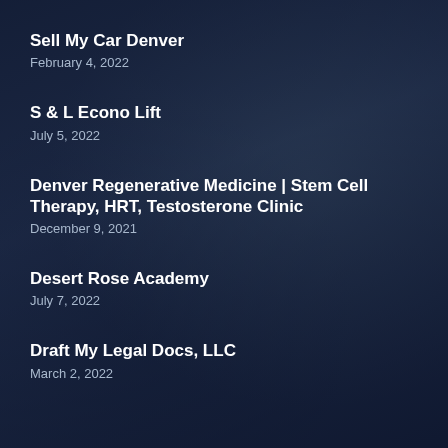Sell My Car Denver
February 4, 2022
S & L Econo Lift
July 5, 2022
Denver Regenerative Medicine | Stem Cell Therapy, HRT, Testosterone Clinic
December 9, 2021
Desert Rose Academy
July 7, 2022
Draft My Legal Docs, LLC
March 2, 2022